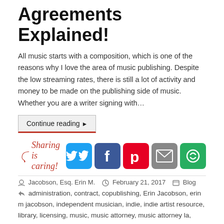Agreements Explained!
All music starts with a composition, which is one of the reasons why I love the area of music publishing. Despite the low streaming rates, there is still a lot of activity and money to be made on the publishing side of music. Whether you are a writer signing with…
Continue reading ▶
[Figure (infographic): Sharing is caring! social share buttons: Twitter (blue), Facebook (dark blue), Pinterest (red), Email (grey), Share (green)]
Jacobson, Esq. Erin M.   February 21, 2017   Blog
administration, contract, copublishing, Erin Jacobson, erin m jacobson, independent musician, indie, indie artist resource, library, licensing, music, music attorney, music attorney la, music attorney los angeles, music business, music law, music lawyer, music lawyer la, music lawyer los angeles, music publishing, original, placement, profit, protect, royalties, songwriter, songwriter agreement, songwriter split,